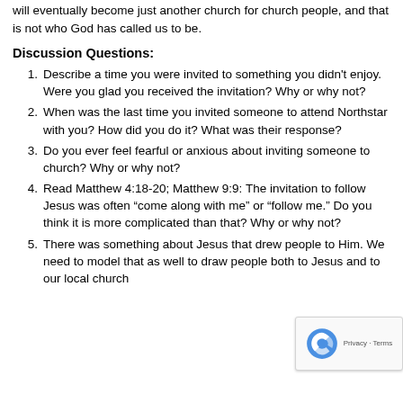will eventually become just another church for church people, and that is not who God has called us to be.
Discussion Questions:
Describe a time you were invited to something you didn't enjoy. Were you glad you received the invitation? Why or why not?
When was the last time you invited someone to attend Northstar with you? How did you do it? What was their response?
Do you ever feel fearful or anxious about inviting someone to church? Why or why not?
Read Matthew 4:18-20; Matthew 9:9: The invitation to follow Jesus was often “come along with me” or “follow me.” Do you think it is more complicated than that? Why or why not?
There was something about Jesus that drew people to Him. We need to model that as well to draw people both to Jesus and to our local church